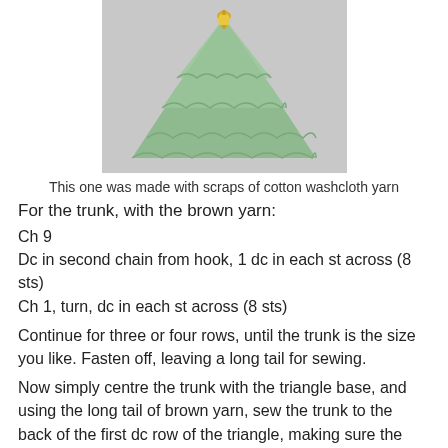[Figure (photo): A crocheted green triangle Christmas tree shape with a small gold bell at the top, placed on a grey fabric background.]
This one was made with scraps of cotton washcloth yarn
For the trunk, with the brown yarn:
Ch 9
Dc in second chain from hook, 1 dc in each st across (8 sts)
Ch 1, turn, dc in each st across (8 sts)
Continue for three or four rows, until the trunk is the size you like. Fasten off, leaving a long tail for sewing.
Now simply centre the trunk with the triangle base, and using the long tail of brown yarn, sew the trunk to the back of the first dc row of the triangle, making sure the yarn doesn’t show through at the front. Weave in all the ends when finished.